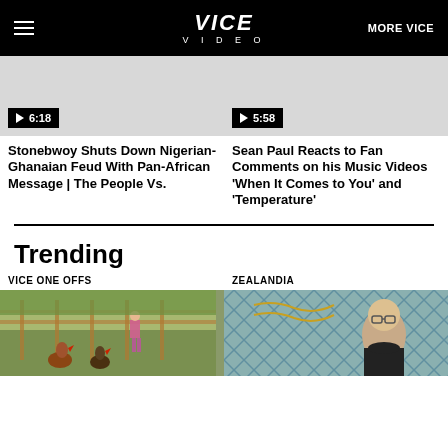VICE VIDEO | MORE VICE
[Figure (screenshot): Video thumbnail placeholder (gray) with play badge showing 6:18]
Stonebwoy Shuts Down Nigerian-Ghanaian Feud With Pan-African Message | The People Vs.
[Figure (screenshot): Video thumbnail placeholder (gray) with play badge showing 5:58]
Sean Paul Reacts to Fan Comments on his Music Videos 'When It Comes to You' and 'Temperature'
Trending
VICE ONE OFFS
ZEALANDIA
[Figure (photo): Outdoor scene with roosters and people on a wooden deck or pen area]
[Figure (photo): Man with glasses in a teal/green patterned background room]